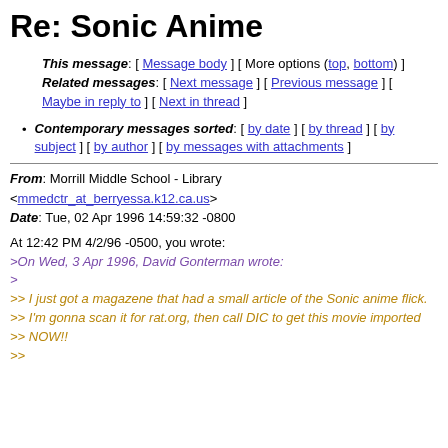Re: Sonic Anime
This message: [ Message body ] [ More options (top, bottom) ]
Related messages: [ Next message ] [ Previous message ] [ Maybe in reply to ] [ Next in thread ]
Contemporary messages sorted: [ by date ] [ by thread ] [ by subject ] [ by author ] [ by messages with attachments ]
From: Morrill Middle School - Library <mmedctr_at_berryessa.k12.ca.us>
Date: Tue, 02 Apr 1996 14:59:32 -0800
At 12:42 PM 4/2/96 -0500, you wrote:
>On Wed, 3 Apr 1996, David Gonterman wrote:
>
>> I just got a magazene that had a small article of the Sonic anime flick.
>> I'm gonna scan it for rat.org, then call DIC to get this movie imported
>> NOW!!
>>